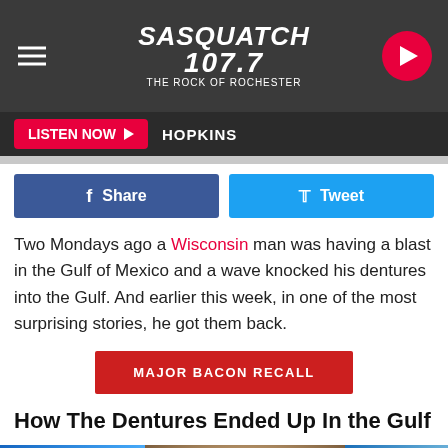SASQUATCH 107.7 THE ROCK OF ROCHESTER
LISTEN NOW  HOPKINS
f Share
Tweet
Two Mondays ago a Wisconsin man was having a blast in the Gulf of Mexico and a wave knocked his dentures into the Gulf. And earlier this week, in one of the most surprising stories, he got them back.
MAJOR BACON RECALL
How The Dentures Ended Up In the Gulf
[Figure (photo): Photo of a man wearing a cap, with blue graphic background on the sides]